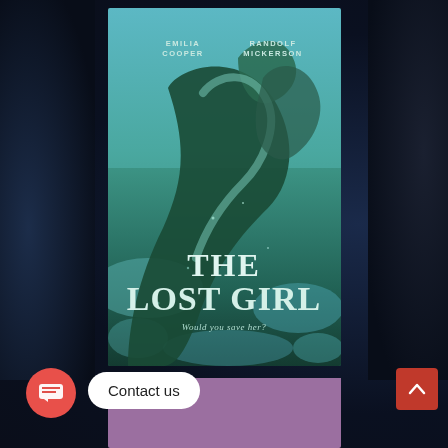[Figure (illustration): Movie poster for 'THE LOST GIRL' featuring two figures underwater in teal and green tones. Actor names 'EMILIA COOPER' and 'RANDOLF MICKERSON' at top. Tagline 'Would you save her?' at bottom.]
Contact us